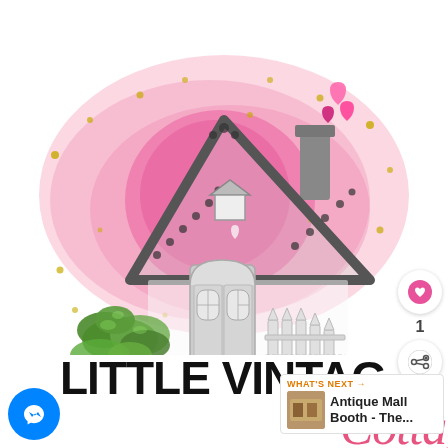[Figure (logo): Little Vintage Cottage logo illustration: a watercolor pink cottage with gray pencil-drawn roof, picket fence, succulent plants, pink heart watercolor splash in background, gold confetti dots scattered around, small pink hearts above chimney.]
LITTLE VINTAGE Cottage
[Figure (other): Facebook Messenger blue circle icon button at bottom left]
[Figure (other): Like button (heart icon) with count 1, and share button, stacked vertically on the right side]
[Figure (other): What's Next panel showing thumbnail and text: Antique Mall Booth - The...]